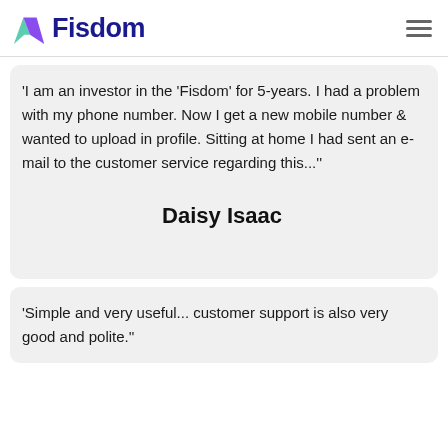Fisdom
'I am an investor in the 'Fisdom' for 5-years. I had a problem with my phone number. Now I get a new mobile number & wanted to upload in profile. Sitting at home I had sent an e-mail to the customer service regarding this...''
Daisy Isaac
'Simple and very useful... customer support is also very good and polite.''